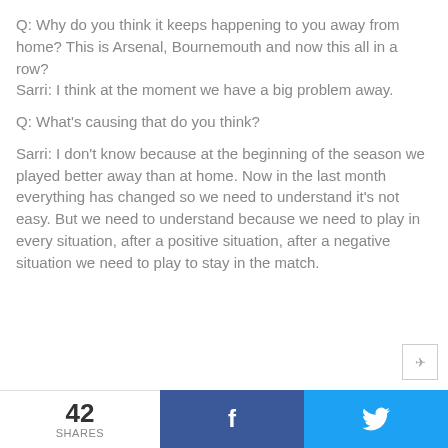Q: Why do you think it keeps happening to you away from home? This is Arsenal, Bournemouth and now this all in a row?
Sarri: I think at the moment we have a big problem away.
Q: What's causing that do you think?
Sarri: I don't know because at the beginning of the season we played better away than at home. Now in the last month everything has changed so we need to understand it's not easy. But we need to understand because we need to play in every situation, after a positive situation, after a negative situation we need to play to stay in the match.
42 SHARES | Facebook | Twitter